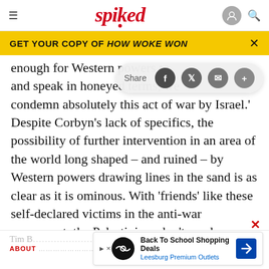spiked
GET YOUR COPY OF HOW WOKE WON
enough for Western powers to… and speak in honeyed terms, we… condemn absolutely this act of war by Israel.' Despite Corbyn's lack of specifics, the possibility of further intervention in an area of the world long shaped – and ruined – by Western powers drawing lines in the sand is as clear as it is ominous. With 'friends' like these self-declared victims in the anti-war movement, the Palestinians don't need any more enemies.
Tim B… ABOUT…
[Figure (screenshot): Advertisement: Back To School Shopping Deals – Leesburg Premium Outlets]